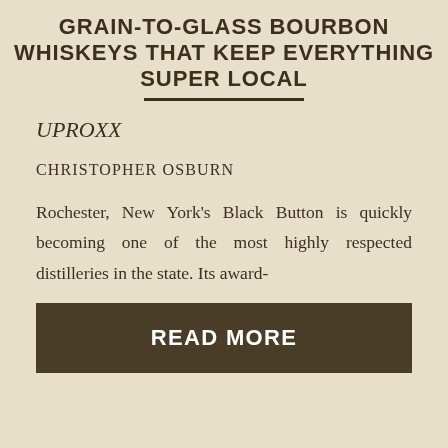GRAIN-TO-GLASS BOURBON WHISKEYS THAT KEEP EVERYTHING SUPER LOCAL
UPROXX
CHRISTOPHER OSBURN
Rochester, New York's Black Button is quickly becoming one of the most highly respected distilleries in the state. Its award-
READ MORE